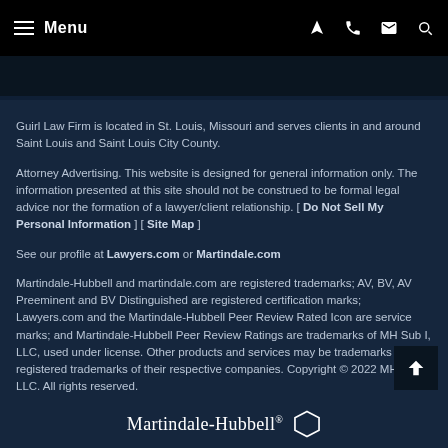Menu [navigation icons]
Guirl Law Firm is located in St. Louis, Missouri and serves clients in and around Saint Louis and Saint Louis City County.
Attorney Advertising. This website is designed for general information only. The information presented at this site should not be construed to be formal legal advice nor the formation of a lawyer/client relationship. [ Do Not Sell My Personal Information ] [ Site Map ]
See our profile at Lawyers.com or Martindale.com
Martindale-Hubbell and martindale.com are registered trademarks; AV, BV, AV Preeminent and BV Distinguished are registered certification marks; Lawyers.com and the Martindale-Hubbell Peer Review Rated Icon are service marks; and Martindale-Hubbell Peer Review Ratings are trademarks of MH Sub I, LLC, used under license. Other products and services may be trademarks or registered trademarks of their respective companies. Copyright © 2022 MH Sub I, LLC. All rights reserved.
[Figure (logo): Martindale-Hubbell logo with hexagon icon]